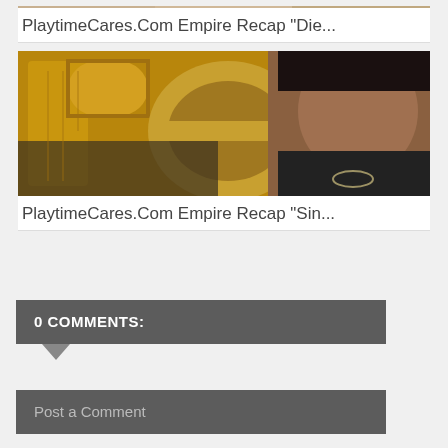[Figure (photo): Partial thumbnail image of previous article (cropped at top of page)]
PlaytimeCares.Com Empire Recap "Die...
[Figure (photo): Thumbnail image for Empire recap article showing gold 're' letters and a young man's face]
PlaytimeCares.Com Empire Recap "Sin...
0 COMMENTS:
Post a Comment